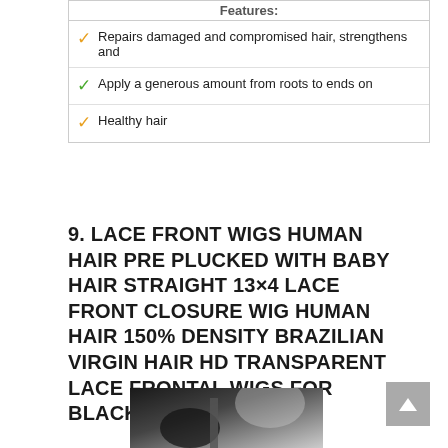Features:
Repairs damaged and compromised hair, strengthens and
Apply a generous amount from roots to ends on
Healthy hair
9. LACE FRONT WIGS HUMAN HAIR PRE PLUCKED WITH BABY HAIR STRAIGHT 13×4 LACE FRONT CLOSURE WIG HUMAN HAIR 150% DENSITY BRAZILIAN VIRGIN HAIR HD TRANSPARENT LACE FRONTAL WIGS FOR BLACK WOMEN
[Figure (photo): Woman wearing a straight lace front wig displayed on a wig stand next to her]